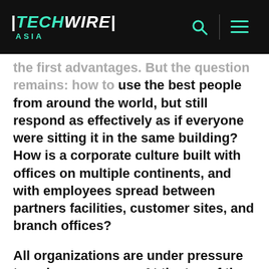TechWire Asia
the first advantages. But the question remains: how to use the best people from around the world, but still respond as effectively as if everyone were sitting it in the same building? How is a corporate culture built with offices on multiple continents, and with employees spread between partners facilities, customer sites, and branch offices?
All organizations are under pressure to reduce expenses. At the top of the list of avoidable costs are travel and telephony. Unified communications mean that organizations can face down the following common challenges:
-keep kilometers traveled down to an absolute minimum, for inter-urban and out-of-town situations